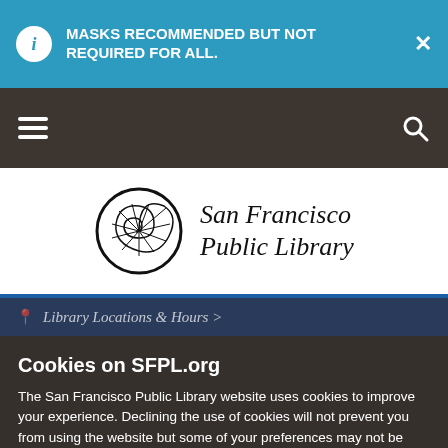MASKS RECOMMENDED BUT NOT REQUIRED FOR ALL.
[Figure (screenshot): Navigation bar with hamburger menu icon on the left and search icon on the right, dark brown background]
[Figure (logo): San Francisco Public Library logo with nautilus shell icon and italic text 'San Francisco Public Library']
Library Locations & Hours >
Cookies on SFPL.org
The San Francisco Public Library website uses cookies to improve your experience. Declining the use of cookies will not prevent you from using the website but some of your preferences may not be retained.
Decline
Accept